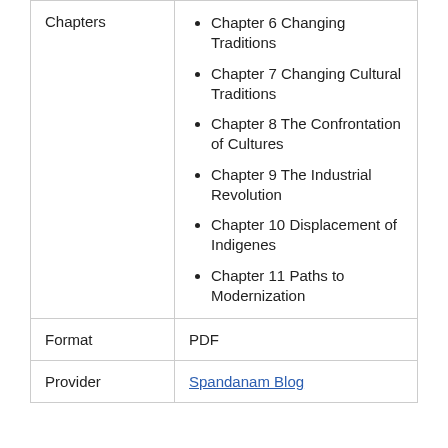|  |  |
| --- | --- |
| Chapters | Chapter 6 Changing Traditions
Chapter 7 Changing Cultural Traditions
Chapter 8 The Confrontation of Cultures
Chapter 9 The Industrial Revolution
Chapter 10 Displacement of Indigenes
Chapter 11 Paths to Modernization |
| Format | PDF |
| Provider | Spandanam Blog |